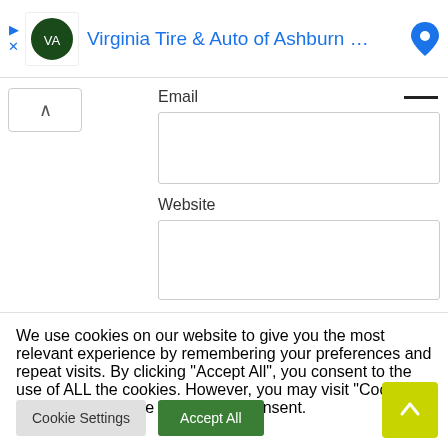[Figure (screenshot): Ad banner for Virginia Tire & Auto of Ashburn with logo, navigation arrows, and map pin icon]
Email
[Figure (screenshot): Email input text field (empty)]
Website
[Figure (screenshot): Website input text field (empty)]
Save my name, email, and website in this browser for the next time I comment.
[Figure (screenshot): Yellow submit button (partially visible)]
We use cookies on our website to give you the most relevant experience by remembering your preferences and repeat visits. By clicking "Accept All", you consent to the use of ALL the cookies. However, you may visit "Cookie Settings" to provide a controlled consent.
Cookie Settings
Accept All